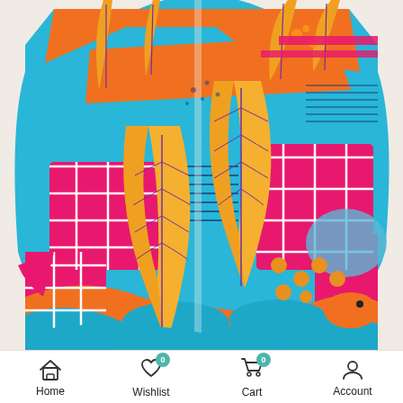[Figure (photo): A colorful tropical print long-sleeve shirt displayed against a light beige/cream wall. The shirt features vibrant patterns of tropical leaves, geometric shapes, and abstract forms in bright colors including teal/blue, orange, hot pink/magenta, yellow/gold, and purple. The fabric has a smooth, silky appearance.]
Home  Wishlist 0  Cart 0  Account